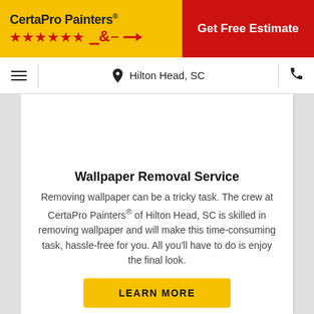[Figure (logo): CertaPro Painters logo on yellow background with red stars and brush icon]
Get Free Estimate
Hilton Head, SC
Wallpaper Removal Service
Removing wallpaper can be a tricky task. The crew at CertaPro Painters® of Hilton Head, SC is skilled in removing wallpaper and will make this time-consuming task, hassle-free for you. All you'll have to do is enjoy the final look.
LEARN MORE